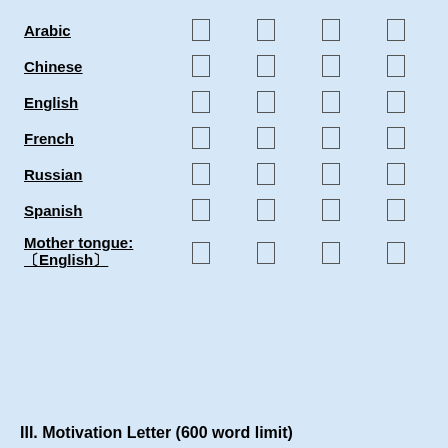| Language |  |  |  |  |
| --- | --- | --- | --- | --- |
| Arabic | ☐ | ☐ | ☐ | ☐ |
| Chinese | ☐ | ☐ | ☐ | ☐ |
| English | ☐ | ☐ | ☐ | ☐ |
| French | ☐ | ☐ | ☐ | ☐ |
| Russian | ☐ | ☐ | ☐ | ☐ |
| Spanish | ☐ | ☐ | ☐ | ☐ |
| Mother tongue: 〔English〕 | ☐ | ☐ | ☐ | ☐ |
III. Motivation Letter (600 word limit)